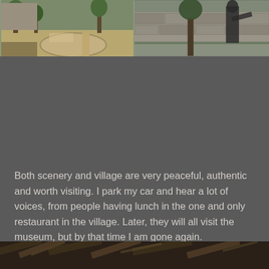[Figure (photo): Two outdoor photos side by side at the top: left shows a sunny courtyard/park area with trees and a path; right shows a stone wall with a dark sculpture/statue figure]
Both scenery and village are very peaceful, authentic and worth visiting. I park my car and hear a lot of voices, from people having lunch in the one and only restaurant in the village. Later, they will all visit the museum, but by that time I am gone again.
[Figure (photo): Partial view of a dark interior photo at the bottom, showing what appears to be books or wooden beams in low light]